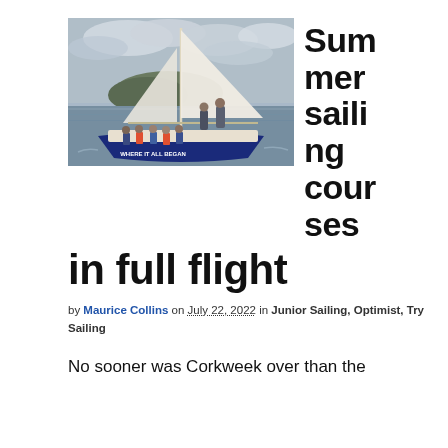[Figure (photo): Group of children and an adult on a sailboat on the water, with hills in the background. The boat has 'WHERE IT ALL BEGAN' written on its side.]
Summer sailing courses in full flight
by Maurice Collins on July 22, 2022 in Junior Sailing, Optimist, Try Sailing
No sooner was Corkweek over than the